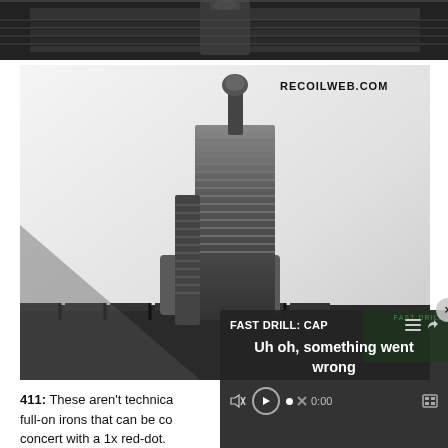[Figure (photo): Close-up photograph of a firearm, showing metal parts detail at the top of the page]
[Figure (photo): Close-up photograph of an AR-15 style iron front sight mounted on a Picatinny rail, black metal, white background. Watermark 'RECOILWEB.COM' in top-right corner.]
411: These aren't technica... full-on irons that can be co... concert with a 1x red-dot.
[Figure (screenshot): Video player overlay popup showing 'FAST DRILL: CAP...' with error message 'Uh oh, something went wrong', media controls including mute, play, progress bar at 0:00, and fullscreen button. Close (x) button in upper right.]